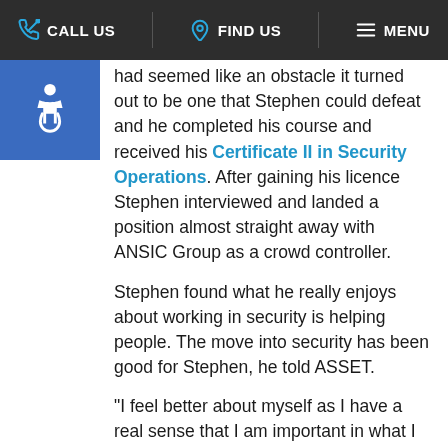CALL US | FIND US | MENU
[Figure (illustration): Wheelchair accessibility icon, white symbol on blue background]
had seemed like an obstacle it turned out to be one that Stephen could defeat and he completed his course and received his Certificate II in Security Operations. After gaining his licence Stephen interviewed and landed a position almost straight away with ANSIC Group as a crowd controller.
Stephen found what he really enjoys about working in security is helping people. The move into security has been good for Stephen, he told ASSET.
“I feel better about myself as I have a real sense that I am important in what I